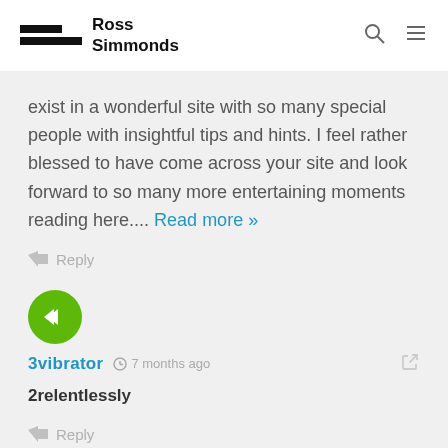Ross Simmonds
exist in a wonderful site with so many special people with insightful tips and hints. I feel rather blessed to have come across your site and look forward to so many more entertaining moments reading here.... Read more »
Reply
[Figure (illustration): Green circular avatar with white arrow/chevron icon pointing left]
3vibrator  7 months ago
2relentlessly
Reply
[Figure (illustration): Green circular avatar partially visible at bottom]